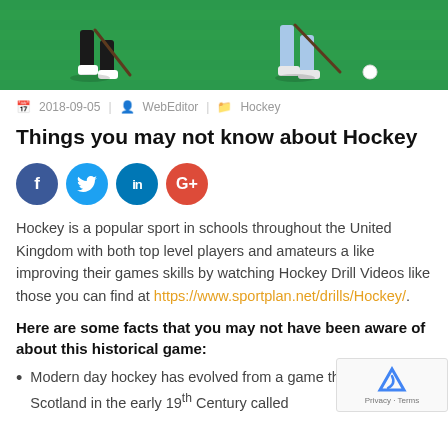[Figure (photo): Field hockey players running on a green turf field, visible from waist down, with hockey sticks and a ball]
📅 2018-09-05 | 👤 WebEditor | 📁 Hockey
Things you may not know about Hockey
[Figure (other): Social sharing buttons: Facebook, Twitter, LinkedIn, Google+]
Hockey is a popular sport in schools throughout the United Kingdom with both top level players and amateurs a like improving their games skills by watching Hockey Drill Videos like those you can find at https://www.sportplan.net/drills/Hockey/.
Here are some facts that you may not have been aware of about this historical game:
Modern day hockey has evolved from a game that grew out of Scotland in the early 19th Century called